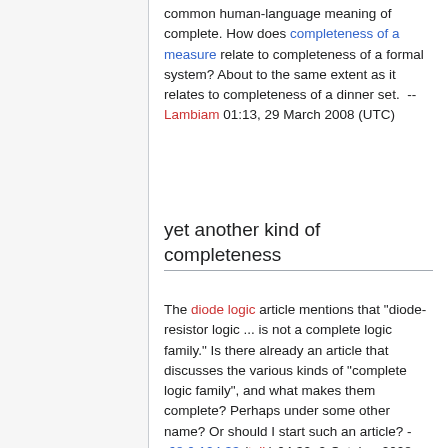common human-language meaning of complete. How does completeness of a measure relate to completeness of a formal system? About to the same extent as it relates to completeness of a dinner set.  -- Lambiam 01:13, 29 March 2008 (UTC)
yet another kind of completeness
The diode logic article mentions that "diode-resistor logic ... is not a complete logic family." Is there already an article that discusses the various kinds of "complete logic family", and what makes them complete? Perhaps under some other name? Or should I start such an article? --68.0.124.33 (talk) 04:32, 2 October 2008 (UTC)